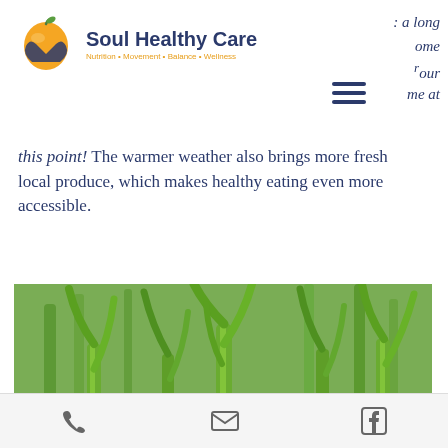[Figure (logo): Soul Healthy Care logo with orange apple/heart icon and tagline: Nutrition • Movement • Balance • Wellness]
: a long
ome
our
me at
this point! The warmer weather also brings more fresh local produce, which makes healthy eating even more accessible.
[Figure (photo): Close-up photograph of young green onion/scallion sprouts growing from bulbs in dark soil]
[Phone icon] [Email icon] [Facebook icon]